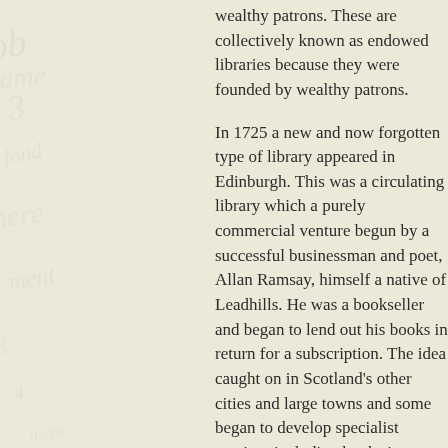wealthy patrons. These are collectively known as endowed libraries because they were founded by wealthy patrons.
In 1725 a new and now forgotten type of library appeared in Edinburgh. This was a circulating library which a purely commercial venture begun by a successful businessman and poet, Allan Ramsay, himself a native of Leadhills. He was a bookseller and began to lend out his books in return for a subscription. The idea caught on in Scotland's other cities and large towns and some began to develop specialist services including books in foreign languages and music. However this service was expensive and not suited to ordinary people.
The type of library which emerged next and became the commonest type of library in Scotland until the end of the nineteenth century was the subscription library. It functioned like a club or society and members paid an